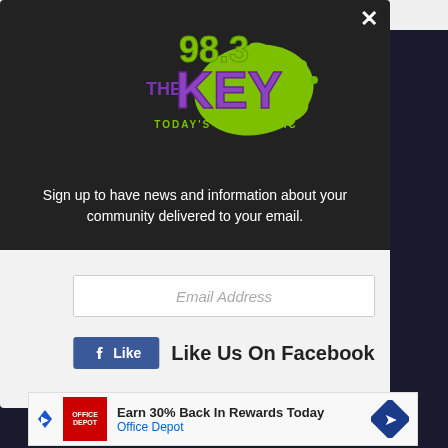[Figure (screenshot): Background webpage screenshot showing partial page content behind modal overlay]
[Figure (logo): 98.3 The Key radio station logo — purple and green stylized text reading '98.3 THE KEY TODAY'S BEST MUSIC' with green ink splatter graphic]
Sign up to have news and information about your community delivered to your email.
Email Address
Like Us On Facebook
[Figure (infographic): Advertisement banner: Office Depot logo, text 'Earn 30% Back In Rewards Today', 'Office Depot', with blue diamond arrow icon]